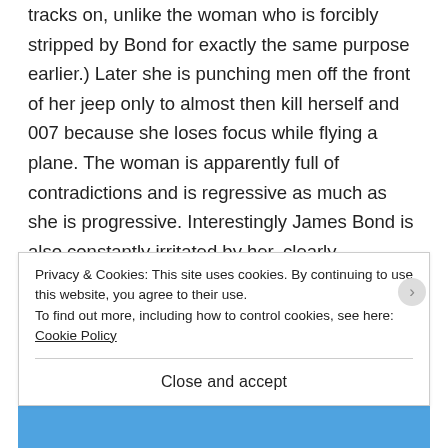tracks on, unlike the woman who is forcibly stripped by Bond for exactly the same purpose earlier.) Later she is punching men off the front of her jeep only to almost then kill herself and 007 because she loses focus while flying a plane. The woman is apparently full of contradictions and is regressive as much as she is progressive. Interestingly James Bond is also constantly irritated by her, clearly considering her his little woman which was seemingly a character trait they were comfortable with in the 80s but now makes him look distastefully superior and a bit of a sexist arse. (Although not as much as tearing a woman's
Privacy & Cookies: This site uses cookies. By continuing to use this website, you agree to their use.
To find out more, including how to control cookies, see here: Cookie Policy
Close and accept